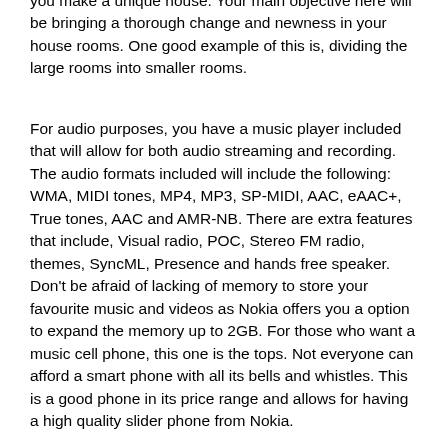you make a unique house. Your main objective here will be bringing a thorough change and newness in your house rooms. One good example of this is, dividing the large rooms into smaller rooms.
For audio purposes, you have a music player included that will allow for both audio streaming and recording. The audio formats included will include the following: WMA, MIDI tones, MP4, MP3, SP-MIDI, AAC, eAAC+, True tones, AAC and AMR-NB. There are extra features that include, Visual radio, POC, Stereo FM radio, themes, SyncML, Presence and hands free speaker. Don't be afraid of lacking of memory to store your favourite music and videos as Nokia offers you a option to expand the memory up to 2GB. For those who want a music cell phone, this one is the tops. Not everyone can afford a smart phone with all its bells and whistles. This is a good phone in its price range and allows for having a high quality slider phone from Nokia.